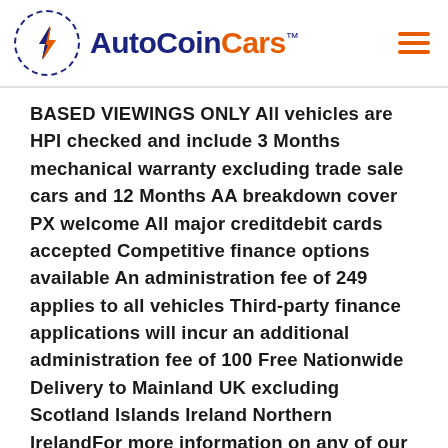[Figure (logo): AutoCoinCars logo with dashed circle icon on left and text 'AutoCoin' in dark blue and 'Cars' in orange with TM superscript, plus hamburger menu icon in orange on the right]
BASED VIEWINGS ONLY All vehicles are HPI checked and include 3 Months mechanical warranty excluding trade sale cars and 12 Months AA breakdown cover PX welcome All major creditdebit cards accepted Competitive finance options available An administration fee of 249 applies to all vehicles Third-party finance applications will incur an additional administration fee of 100 Free Nationwide Delivery to Mainland UK excluding Scotland Islands Ireland Northern IrelandFor more information on any of our vehicles please contact our friendly and helpful sales team on 01707902308 or visit our website wwwreverieautoscoukOpening hours are 930am to 630pm Monday to SaturdayYou can rely on